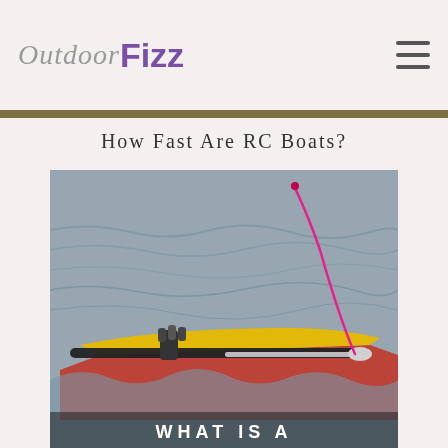OutdoorFizz
How Fast Are RC Boats?
[Figure (photo): Close-up photo of an RC boat on choppy water. The boat has a yellow and red hull with a black cylindrical motor/engine, metal rod, and a pink antenna wire extending upward. Water surface is visible in the background. Text 'WHAT IS A' overlaid at the bottom of the image.]